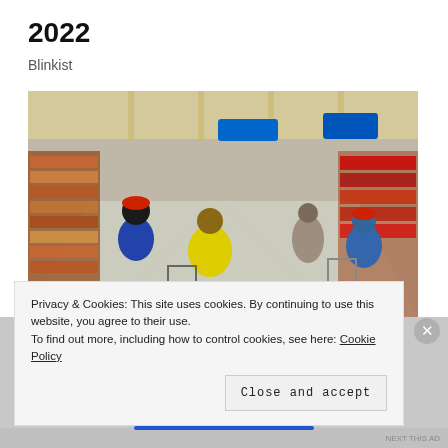2022
Blinkist
[Figure (photo): Interior of a busy retail store (Walmart), with shoppers pushing carts down a wide aisle lined with shelves of products. Fluorescent lighting, blue signage visible in the background.]
Privacy & Cookies: This site uses cookies. By continuing to use this website, you agree to their use.
To find out more, including how to control cookies, see here: Cookie Policy
Close and accept